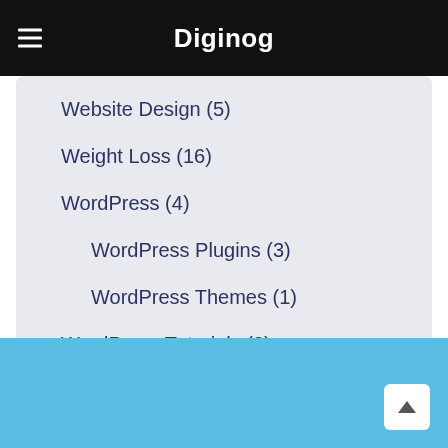Diginog
Website Design (5)
Weight Loss (16)
WordPress (4)
WordPress Plugins (3)
WordPress Themes (1)
WordPress Tutorials (0)